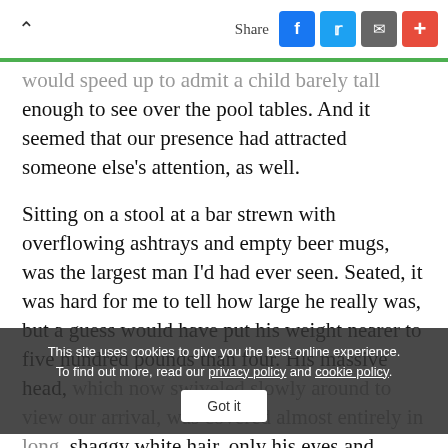Share
would speed up to admit a child barely tall enough to see over the pool tables. And it seemed that our presence had attracted someone else's attention, as well.
Sitting on a stool at a bar strewn with overflowing ashtrays and empty beer mugs, was the largest man I'd had ever seen. Seated, it was hard for me to tell how large he really was, but a guess would have put his weight nearer to five hundred pounds than four. His massive head, which now swiveled slowly around to view our arrival, was covered almost entirely in long, shaggy white hair, only his eyes and mouth really visible through the beard. His cheeks, what could be seen of them, hung down from his
This site uses cookies to give you the best online experience. To find out more, read our privacy policy and cookie policy.